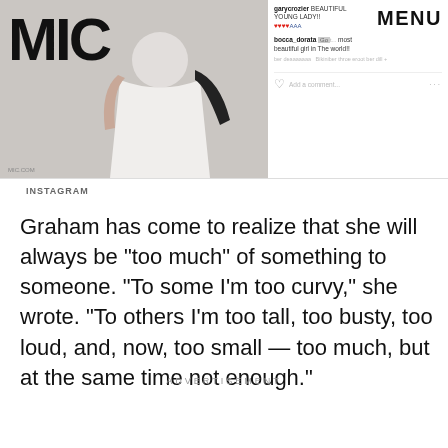[Figure (screenshot): Screenshot of a Mic article page showing an Instagram post with a model in a white dress. On the right side is a MENU button and Instagram comments including 'garycrozier BEAUTIFUL YOUNG LADY!!' with heart emojis, and 'bocca_dorata' saying she is 'the most beautiful girl in The world!!']
INSTAGRAM
Graham has come to realize that she will always be "too much" of something to someone. "To some I'm too curvy," she wrote. "To others I'm too tall, too busty, too loud, and, now, too small — too much, but at the same time not enough."
ADVERTISEMENT